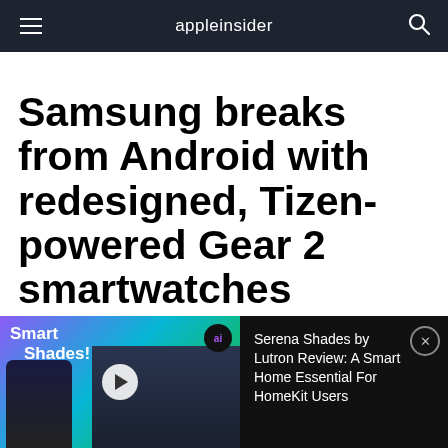appleinsider
Samsung breaks from Android with redesigned, Tizen-powered Gear 2 smartwatches
AppleInsider Staff | Feb 23, 2014
[Figure (screenshot): Ad banner showing Smart Shades video promotion with colorful gradient background, phone screenshot, window shades, play button, and ai badge on left; right side shows text 'Serena Shades by Lutron Review: A Smart Home Essential For HomeKit Users' on dark background with close button]